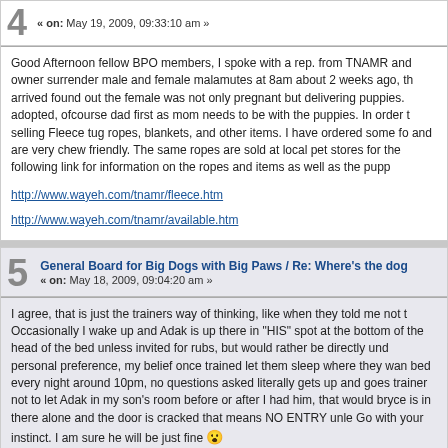4 « on: May 19, 2009, 09:33:10 am »
Good Afternoon fellow BPO members, I spoke with a rep. from TNAMR and owner surrender male and female malamutes at 8am about 2 weeks ago, th arrived found out the female was not only pregnant but delivering puppies. adopted, ofcourse dad first as mom needs to be with the puppies. In order t selling Fleece tug ropes, blankets, and other items. I have ordered some fo and are very chew friendly. The same ropes are sold at local pet stores for the following link for information on the ropes and items as well as the pupp
http://www.wayeh.com/tnamr/fleece.htm
http://www.wayeh.com/tnamr/available.htm
5 General Board for Big Dogs with Big Paws / Re: Where's the dog « on: May 18, 2009, 09:04:20 am »
I agree, that is just the trainers way of thinking, like when they told me not t Occasionally I wake up and Adak is up there in "HIS" spot at the bottom of the head of the bed unless invited for rubs, but would rather be directly und personal preference, my belief once trained let them sleep where they wan bed every night around 10pm, no questions asked literally gets up and goes trainer not to let Adak in my son's room before or after I had him, that would bryce is in there alone and the door is cracked that means NO ENTRY unle Go with your instinct. I am sure he will be just fine 😮